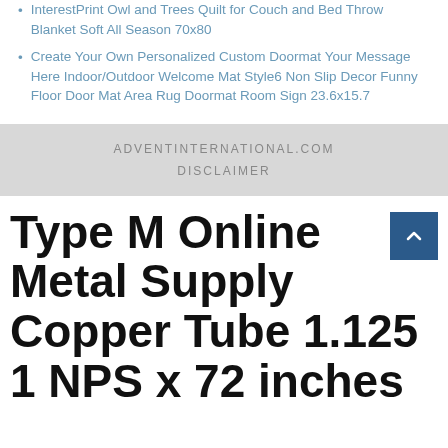InterestPrint Owl and Trees Quilt for Couch and Bed Throw Blanket Soft All Season 70x80
Create Your Own Personalized Custom Doormat Your Message Here Indoor/Outdoor Welcome Mat Style6 Non Slip Decor Funny Floor Door Mat Area Rug Doormat Room Sign 23.6x15.7
ADVENTINTERNATIONAL.COM
DISCLAIMER
Type M Online Metal Supply Copper Tube 1.125 1 NPS x 72 inches